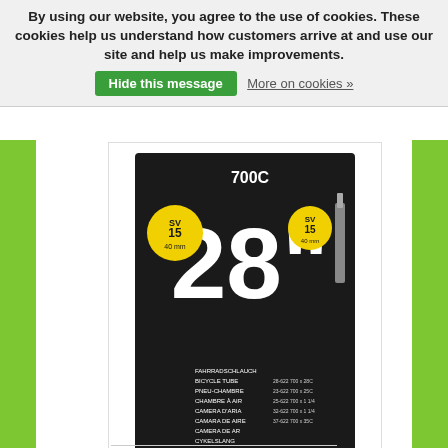By using our website, you agree to the use of cookies. These cookies help us understand how customers arrive at and use our site and help us make improvements.
Hide this message
More on cookies »
[Figure (photo): Large product photo of a Schwalbe 28-inch 700C bicycle inner tube in black packaging with yellow SV15 badges]
[Figure (photo): Thumbnail product photo of the same Schwalbe 28-inch bicycle inner tube box]
C$11.90 Excl. tax